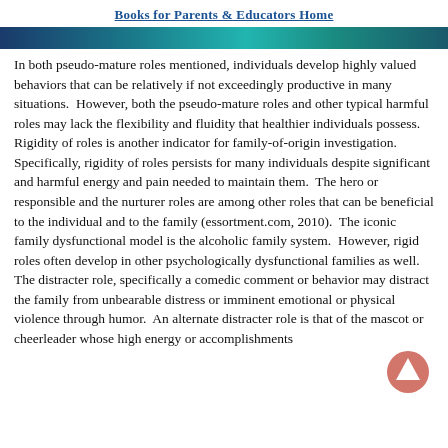Books for Parents & Educators Home
[Figure (other): Decorative teal/blue gradient banner image spanning the full page width]
In both pseudo-mature roles mentioned, individuals develop highly valued behaviors that can be relatively if not exceedingly productive in many situations.  However, both the pseudo-mature roles and other typical harmful roles may lack the flexibility and fluidity that healthier individuals possess.  Rigidity of roles is another indicator for family-of-origin investigation.  Specifically, rigidity of roles persists for many individuals despite significant and harmful energy and pain needed to maintain them.  The hero or responsible and the nurturer roles are among other roles that can be beneficial to the individual and to the family (essortment.com, 2010).  The iconic family dysfunctional model is the alcoholic family system.  However, rigid roles often develop in other psychologically dysfunctional families as well.  The distracter role, specifically a comedic comment or behavior may distract the family from unbearable distress or imminent emotional or physical violence through humor.  An alternate distracter role is that of the mascot or cheerleader whose high energy or accomplishments